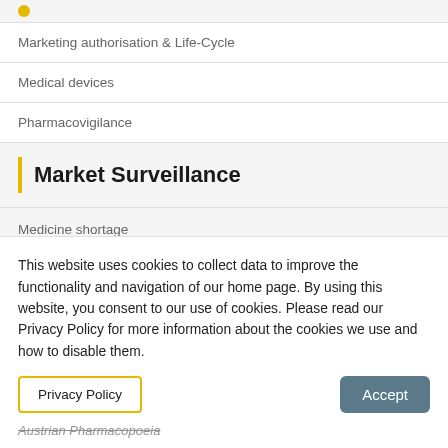Marketing authorisation & Life-Cycle
Medical devices
Pharmacovigilance
Market Surveillance
Medicine shortage
This website uses cookies to collect data to improve the functionality and navigation of our home page. By using this website, you consent to our use of cookies. Please read our Privacy Policy for more information about the cookies we use and how to disable them.
Privacy Policy
Accept
Austrian Pharmacopoeia